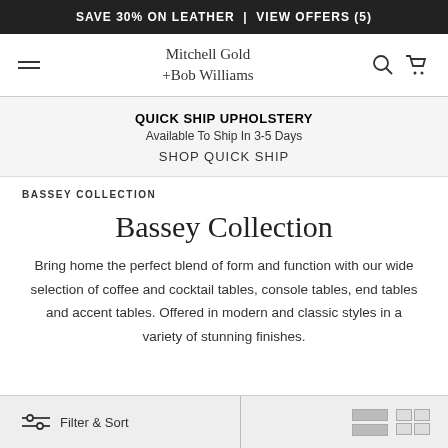SAVE 30% ON LEATHER | VIEW OFFERS (5)
[Figure (screenshot): Mitchell Gold +Bob Williams navigation bar with hamburger menu, logo, search and cart icons]
QUICK SHIP UPHOLSTERY
Available To Ship In 3-5 Days
SHOP QUICK SHIP
BASSEY COLLECTION
Bassey Collection
Bring home the perfect blend of form and function with our wide selection of coffee and cocktail tables, console tables, end tables and accent tables. Offered in modern and classic styles in a variety of stunning finishes.
Filter & Sort